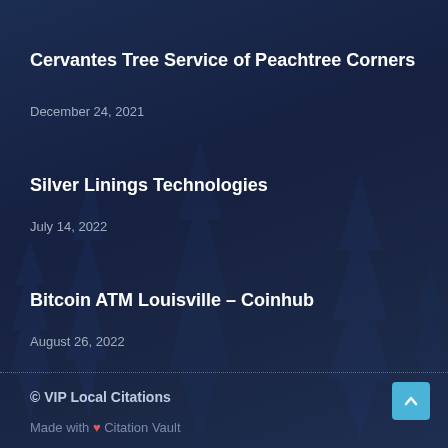Cervantes Tree Service of Peachtree Corners
December 24, 2021
Silver Linings Technologies
July 14, 2022
Bitcoin ATM Louisville – Coinhub
August 26, 2022
© VIP Local Citations
Made with ❤ Citation Vault